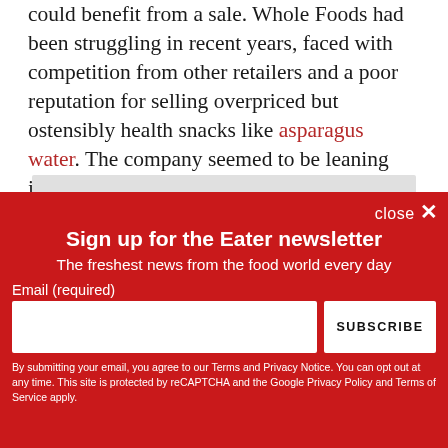could benefit from a sale. Whole Foods had been struggling in recent years, faced with competition from other retailers and a poor reputation for selling overpriced but ostensibly health snacks like asparagus water. The company seemed to be leaning into its prepared foods business, and designing at least some locations to look more like restaurants than grocery stores.
[Figure (screenshot): Newsletter signup overlay with red background: 'Sign up for the Eater newsletter', 'The freshest news from the food world every day', email input field, SUBSCRIBE button, and legal disclaimer text.]